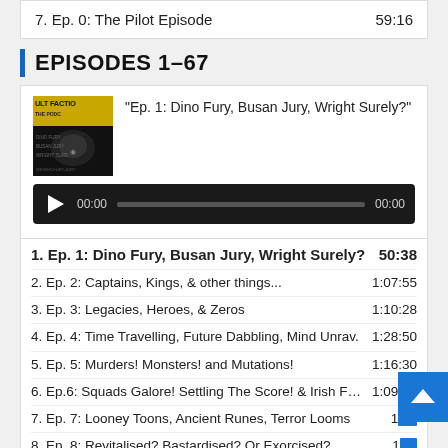7. Ep. 0: The Pilot Episode    59:16
EPISODES 1–67
[Figure (screenshot): Podcast artwork thumbnail for Cult Faction: The Podcast, showing yellow/gold text on dark background with character imagery]
"Ep. 1: Dino Fury, Busan Jury, Wright Surely?"
Audio player showing 00:00 / 00:00
1. Ep. 1: Dino Fury, Busan Jury, Wright Surely?    50:38
2. Ep. 2: Captains, Kings, & other things...    1:07:55
3. Ep. 3: Legacies, Heroes, & Zeros    1:10:28
4. Ep. 4: Time Travelling, Future Dabbling, Mind Unrav.    1:28:50
5. Ep. 5: Murders! Monsters! and Mutations!    1:16:30
6. Ep.6: Squads Galore! Settling The Score! & Irish Folk.    1:09:50
7. Ep. 7: Looney Toons, Ancient Runes, Terror Looms    1:[obscured]
8. Ep. 8: Revitalised? Bastardised? Or Exorcised?    1:[obscured]
9. Ep. 9: Kung Fuing, Simpson's Suing, Trouble Brewing!    2:[obscured]
10. Ep. 10: Devils, Demons, and Dragons    1:34:12
11. Ep. 11: Heels, Teeth, and Eternal Beef!    1:36:21